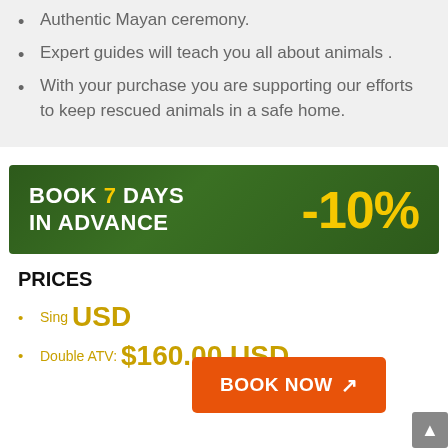Authentic Mayan ceremony.
Expert guides will teach you all about animals .
With your purchase you are supporting our efforts to keep rescued animals in a safe home.
[Figure (infographic): Dark green promotional banner reading BOOK 7 DAYS IN ADVANCE -10%]
PRICES
Single ATV: [price] USD
Double ATV: $160.00 USD